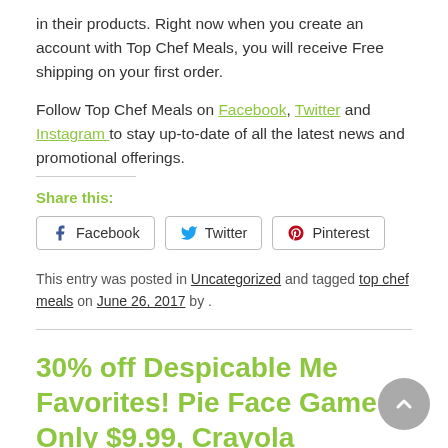in their products. Right now when you create an account with Top Chef Meals, you will receive Free shipping on your first order.
Follow Top Chef Meals on Facebook, Twitter and Instagram to stay up-to-date of all the latest news and promotional offerings.
Share this:
Facebook
Twitter
Pinterest
This entry was posted in Uncategorized and tagged top chef meals on June 26, 2017 by .
30% off Despicable Me Favorites! Pie Face Game Only $9.99, Crayola